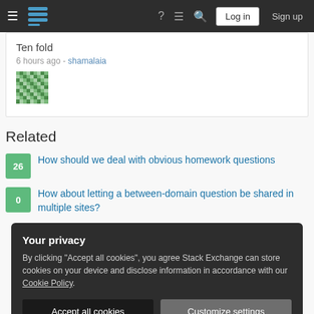Stack Exchange — Log in | Sign up
Ten fold
6 hours ago - shamalaia
Related
26 — How should we deal with obvious homework questions
0 — How about letting a between-domain question be shared in multiple sites?
Your privacy
By clicking "Accept all cookies", you agree Stack Exchange can store cookies on your device and disclose information in accordance with our Cookie Policy.
[Accept all cookies] [Customize settings]
0 — Do we need a canonical thread about Stock trading? What would it address?